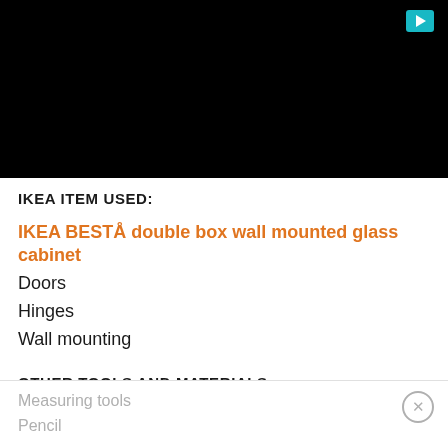[Figure (photo): Black rectangular area representing a video or image, with a teal/cyan play button icon in the top right corner]
IKEA ITEM USED:
IKEA BESTÅ double box wall mounted glass cabinet
Doors
Hinges
Wall mounting
OTHER TOOLS AND MATERIALS:
Circular saw
Measuring tools
Pencil